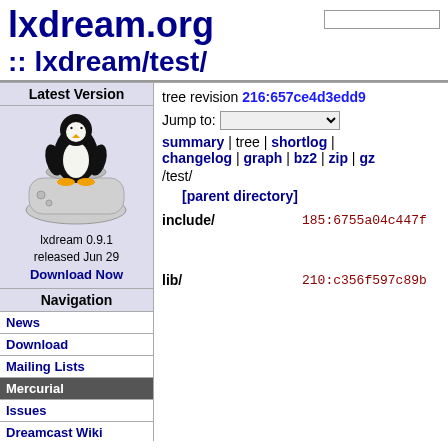lxdream.org :: lxdream/test/
Latest Version
[Figure (screenshot): Lxdream logo showing Tux penguin on a Dreamcast console]
lxdream 0.9.1 released Jun 29 Download Now
Navigation
News
Download
Mailing Lists
Mercurial
Issues
Dreamcast Wiki
FAQ
tree revision 216:657ce4d3edd9
Jump to:
summary | tree | shortlog | changelog | graph | bz2 | zip | gz
/test/
[parent directory]
include/   185:6755a04c447f
lib/   210:c356f597c89b